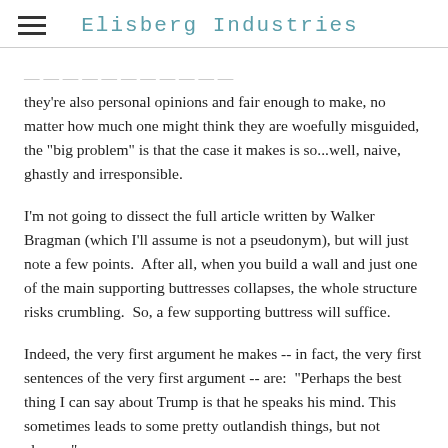Elisberg Industries
they're also personal opinions and fair enough to make, no matter how much one might think they are woefully misguided, the "big problem" is that the case it makes is so...well, naive, ghastly and irresponsible.
I'm not going to dissect the full article written by Walker Bragman (which I'll assume is not a pseudonym), but will just note a few points.  After all, when you build a wall and just one of the main supporting buttresses collapses, the whole structure risks crumbling.  So, a few supporting buttress will suffice.
Indeed, the very first argument he makes -- in fact, the very first sentences of the very first argument -- are:  "Perhaps the best thing I can say about Trump is that he speaks his mind. This sometimes leads to some pretty outlandish things, but not always."